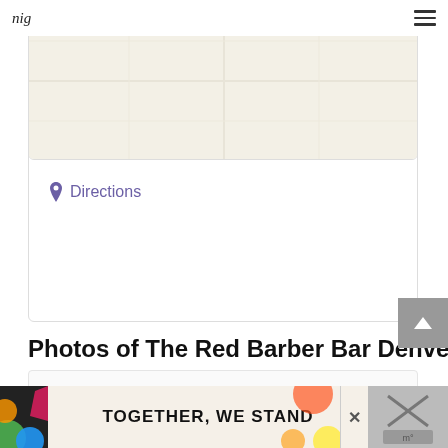nig
[Figure (map): A map view showing a location, beige/tan colored map background]
Directions
Photos of The Red Barber Bar Denver
[Figure (photo): Photo gallery area for The Red Barber Bar Denver, currently empty/loading]
[Figure (infographic): Advertisement banner: TOGETHER, WE STAND with colorful graphic elements and close button]